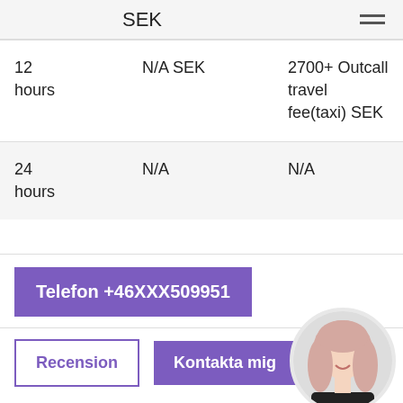SEK
| 12 hours | N/A SEK | 2700+ Outcall travel fee(taxi) SEK |
| 24 hours | N/A | N/A |
Telefon +46XXX509951
Recension   Kontakta mig